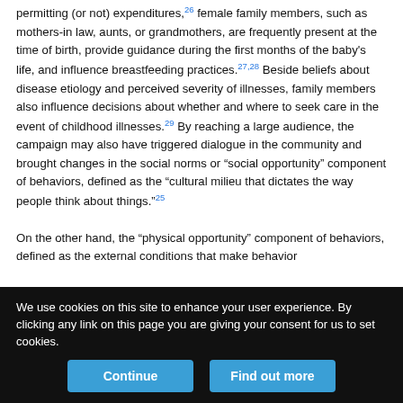permitting (or not) expenditures,26 female family members, such as mothers-in law, aunts, or grandmothers, are frequently present at the time of birth, provide guidance during the first months of the baby's life, and influence breastfeeding practices.27,28 Beside beliefs about disease etiology and perceived severity of illnesses, family members also influence decisions about whether and where to seek care in the event of childhood illnesses.29 By reaching a large audience, the campaign may also have triggered dialogue in the community and brought changes in the social norms or “social opportunity” component of behaviors, defined as the “cultural milieu that dictates the way people think about things.”25
On the other hand, the “physical opportunity” component of behaviors, defined as the external conditions that make behavior
We use cookies on this site to enhance your user experience. By clicking any link on this page you are giving your consent for us to set cookies.